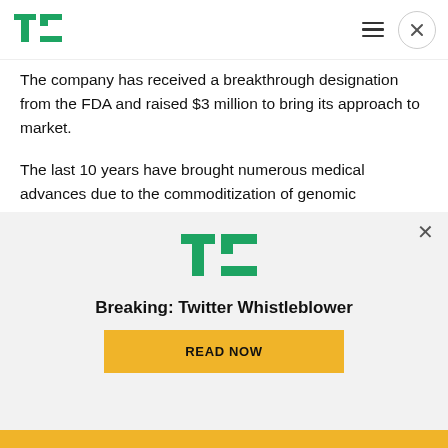TechCrunch header with logo, hamburger menu, and close button
The company has received a breakthrough designation from the FDA and raised $3 million to bring its approach to market.
The last 10 years have brought numerous medical advances due to the commoditization of genomic processes from sequencing to analysis, and cancer treatment is no exception. In fact, because cancer is (though it is a simplification) a genetic mutation
[Figure (logo): TechCrunch TC logo in green]
Breaking: Twitter Whistleblower
[Figure (other): READ NOW button in yellow/gold color]